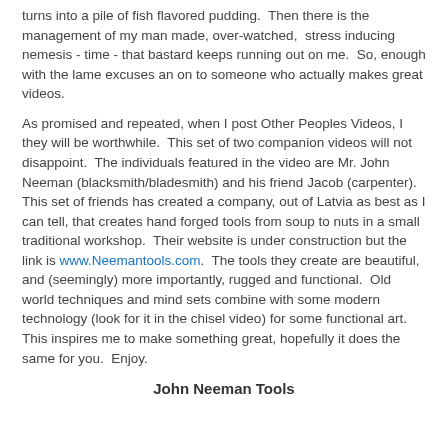turns into a pile of fish flavored pudding.  Then there is the management of my man made, over-watched,  stress inducing nemesis - time - that bastard keeps running out on me.  So, enough with the lame excuses an on to someone who actually makes great videos.
As promised and repeated, when I post Other Peoples Videos, I they will be worthwhile.  This set of two companion videos will not disappoint.  The individuals featured in the video are Mr. John Neeman (blacksmith/bladesmith) and his friend Jacob (carpenter).  This set of friends has created a company, out of Latvia as best as I can tell, that creates hand forged tools from soup to nuts in a small traditional workshop.  Their website is under construction but the link is www.Neemantools.com.  The tools they create are beautiful, and (seemingly) more importantly, rugged and functional.  Old world techniques and mind sets combine with some modern technology (look for it in the chisel video) for some functional art.  This inspires me to make something great, hopefully it does the same for you.  Enjoy.
John Neeman Tools